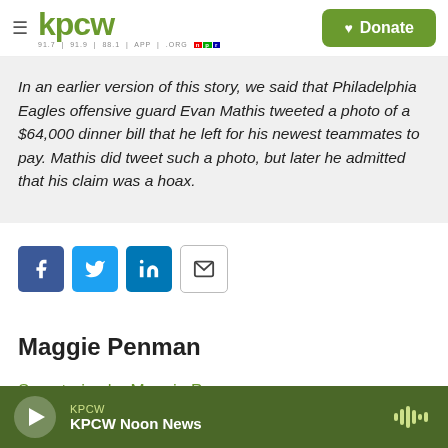kpcw — Donate
In an earlier version of this story, we said that Philadelphia Eagles offensive guard Evan Mathis tweeted a photo of a $64,000 dinner bill that he left for his newest teammates to pay. Mathis did tweet such a photo, but later he admitted that his claim was a hoax.
[Figure (infographic): Social sharing buttons: Facebook, Twitter, LinkedIn, Email]
Maggie Penman
See stories by Maggie Penman
KPCW — KPCW Noon News (player bar)